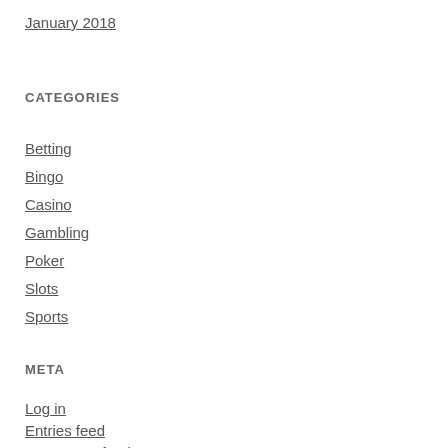January 2018
CATEGORIES
Betting
Bingo
Casino
Gambling
Poker
Slots
Sports
META
Log in
Entries feed
Comments food